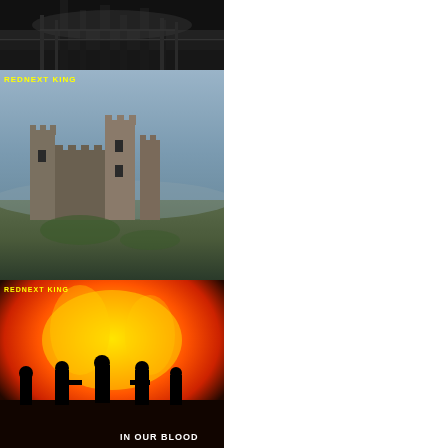[Figure (photo): Dark/nighttime bridge or industrial scene, first album cover in left column]
[Figure (photo): Ruined castle or fortress ruins in misty/foggy landscape - REDNEXT KING album cover]
[Figure (photo): Rock band silhouettes against fiery orange/red background with text 'IN OUR BLOOD' - REDNEXT KING album]
[Figure (photo): PIZZA BOY album cover with landscape and figure in rain/storm]
[Figure (photo): BROERS album cover - 'Wat van NOU!' with three men and orange BROERS text]